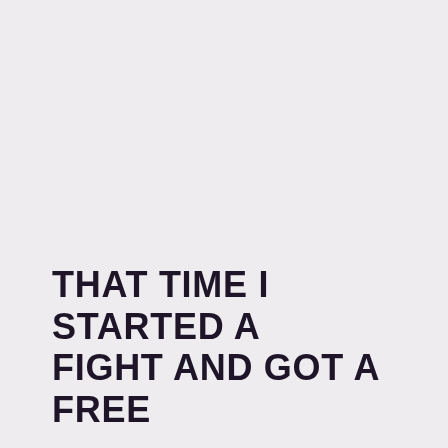THAT TIME I STARTED A FIGHT AND GOT A FREE